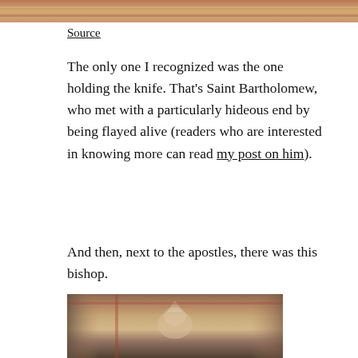[Figure (photo): Top portion of a medieval fresco painting showing decorative elements in red, orange, and brown tones]
Source
The only one I recognized was the one holding the knife. That’s Saint Bartholomew, who met with a particularly hideous end by being flayed alive (readers who are interested in knowing more can read my post on him).
And then, next to the apostles, there was this bishop.
[Figure (photo): Medieval fresco painting of a bishop figure wearing a mitre, set against a reddish-brown architectural background with faded painted details]